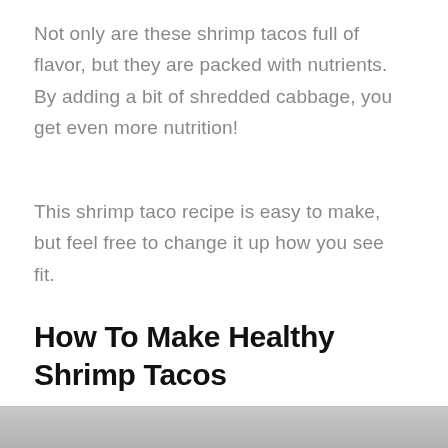Not only are these shrimp tacos full of flavor, but they are packed with nutrients. By adding a bit of shredded cabbage, you get even more nutrition!
This shrimp taco recipe is easy to make, but feel free to change it up how you see fit.
How To Make Healthy Shrimp Tacos
[Figure (photo): Partial bottom strip showing top of a food photo, likely shrimp tacos]